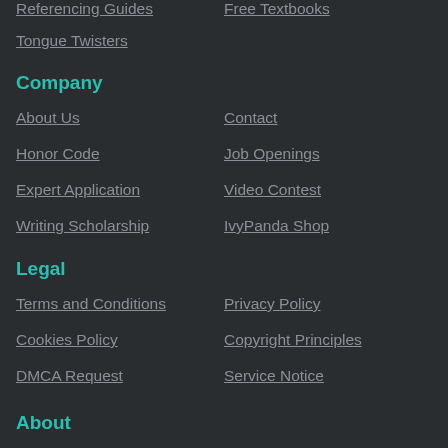Referencing Guides
Free Textbooks
Tongue Twisters
Company
About Us
Contact
Honor Code
Job Openings
Expert Application
Video Contest
Writing Scholarship
IvyPanda Shop
Legal
Terms and Conditions
Privacy Policy
Cookies Policy
Copyright Principles
DMCA Request
Service Notice
About
This is IvyPanda's free database of academic paper samples. It contains thousands of paper examples on a wide variety of